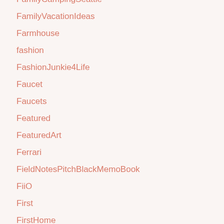FamilyCampingSeattle
FamilyVacationIdeas
Farmhouse
fashion
FashionJunkie4Life
Faucet
Faucets
Featured
FeaturedArt
Ferrari
FieldNotesPitchBlackMemoBook
FiiO
First
FirstHome
FirstPersonShooter